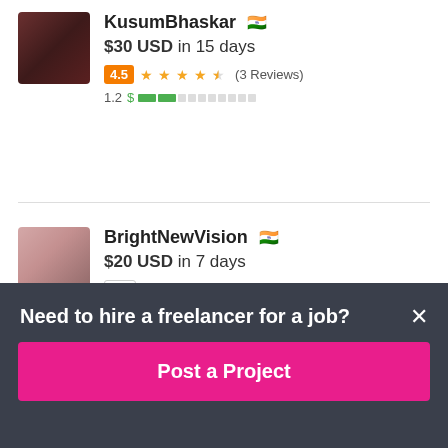KusumBhaskar 🇮🇳
$30 USD in 15 days
4.5 ★★★★½ (3 Reviews)
1.2 $ ▌▌░░░░░░░░░
BrightNewVision 🇮🇳
$20 USD in 7 days
0.0 ☆☆☆☆☆ (0 Reviews)
0.0 $ ░░░░░░░░░░
Need to hire a freelancer for a job?
Post a Project